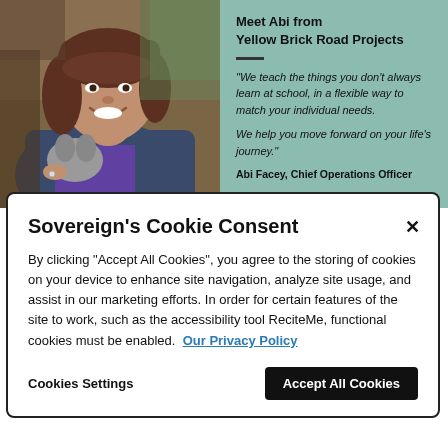[Figure (photo): Photo of Abi Facey, a woman with brown hair holding a small grey fluffy animal, smiling, in an outdoor or barn-like setting.]
Meet Abi from
Yellow Brick Road Projects

"We teach the things you don't always learn at school, in a flexible way to match your individual needs.

We help you move forward on your life's journey."

Abi Facey, Chief Operations Officer
Sovereign's Cookie Consent
By clicking "Accept All Cookies", you agree to the storing of cookies on your device to enhance site navigation, analyze site usage, and assist in our marketing efforts. In order for certain features of the site to work, such as the accessibility tool ReciteMe, functional cookies must be enabled. Our Privacy Policy
Cookies Settings
Accept All Cookies